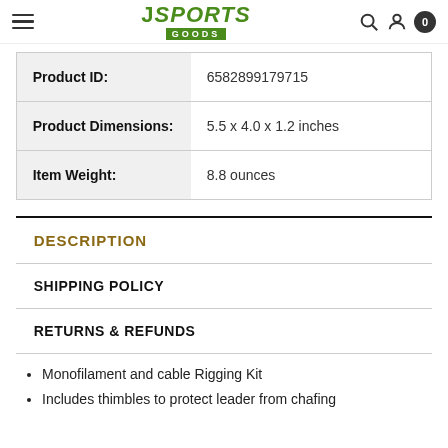J SPORTS GOODS navigation bar with hamburger menu, logo, search, account, and cart (0) icons
| Field | Value |
| --- | --- |
| Product ID: | 6582899179715 |
| Product Dimensions: | 5.5 x 4.0 x 1.2 inches |
| Item Weight: | 8.8 ounces |
DESCRIPTION
SHIPPING POLICY
RETURNS & REFUNDS
Monofilament and cable Rigging Kit
Includes thimbles to protect leader from chafing